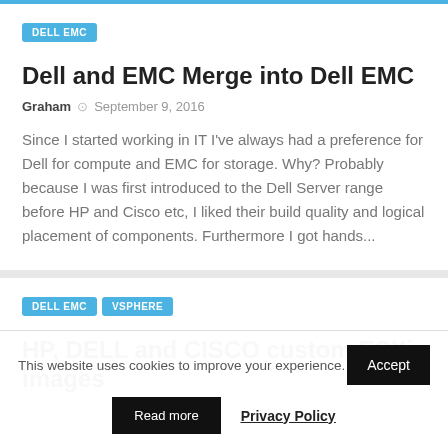DELL EMC
Dell and EMC Merge into Dell EMC
Graham  September 9, 2016
Since I started working in IT I've always had a preference for Dell for compute and EMC for storage. Why? Probably because I was first introduced to the Dell Server range before HP and Cisco etc, I liked their build quality and logical placement of components. Furthermore I got hands...
DELL EMC
VSPHERE
HP, DELL and CISCO custom ESXi images
This website uses cookies to improve your experience.
Accept
Read more
Privacy Policy